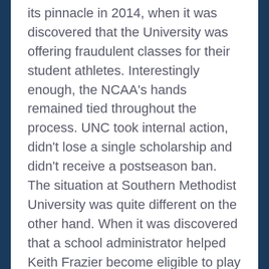its pinnacle in 2014, when it was discovered that the University was offering fraudulent classes for their student athletes. Interestingly enough, the NCAA's hands remained tied throughout the process. UNC took internal action, didn't lose a single scholarship and didn't receive a postseason ban. The situation at Southern Methodist University was quite different on the other hand. When it was discovered that a school administrator helped Keith Frazier become eligible to play at SMU, the NCAA took immediate action. Larry Brown (SMU's former head basketball coach) was dealt a 20 game suspension, the team received a postseason ban and had 9 scholarships taken away for the next 3 years. No one is saying that either one of these schools did the right thing, but there's a glaring